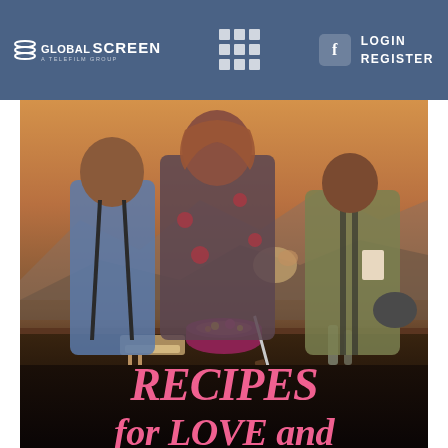GLOBAL SCREEN | LOGIN | REGISTER
[Figure (photo): Promotional poster for 'Recipes for Love and Murder' TV show. Three actors standing behind a table with food items including a decorated cake, herbs, and various ingredients. Dramatic golden-hour landscape in background.]
RECIPES for LOVE and MURDER